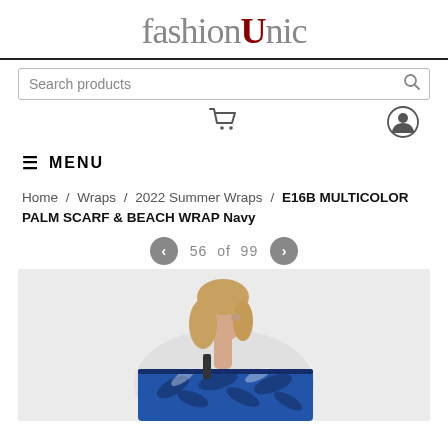fashionUnic
Search products
[Figure (screenshot): Shopping cart icon and user account icon]
MENU
Home / Wraps / 2022 Summer Wraps / E16B MULTICOLOR PALM SCARF & BEACH WRAP Navy
56 of 99
[Figure (photo): Blonde woman viewed from the side/back wearing a navy blue and white multicolor palm scarf/beach wrap, shown against a light grey background]